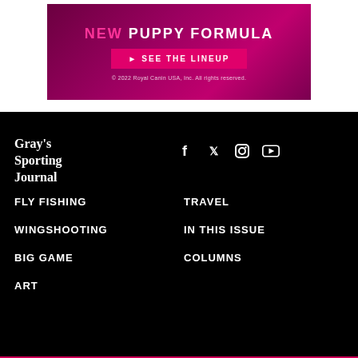[Figure (illustration): Royal Canin advertisement banner with dark magenta/purple gradient background showing 'NEW PUPPY FORMULA' text and 'SEE THE LINEUP' button, with copyright notice '© 2022 Royal Canin USA, Inc. All rights reserved.']
Gray's Sporting Journal
[Figure (infographic): Social media icons: Facebook, Twitter, Instagram, YouTube — white icons on black background]
FLY FISHING
TRAVEL
WINGSHOOTING
IN THIS ISSUE
BIG GAME
COLUMNS
ART